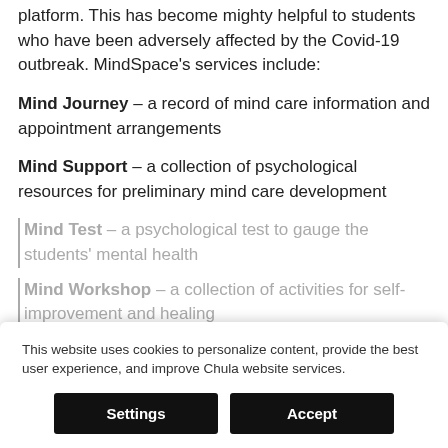platform.  This has become mighty helpful to students who have been adversely affected by the Covid-19 outbreak.  MindSpace's services include:
Mind Journey – a record of mind care information and appointment arrangements
Mind Support – a collection of psychological resources for preliminary mind care development
Mind Test – a psychological test to gauge the students' mental health
Mind Workshop – a collection of activities for self-improvement and healing
This website uses cookies to personalize content, provide the best user experience, and improve Chula website services.